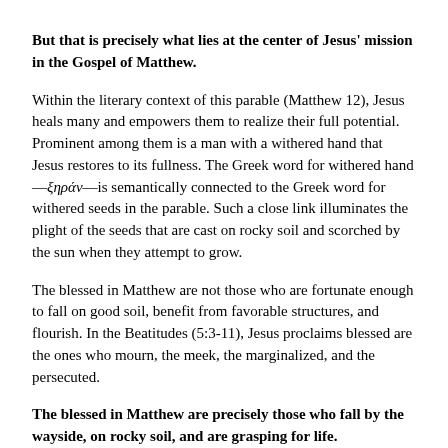But that is precisely what lies at the center of Jesus' mission in the Gospel of Matthew.
Within the literary context of this parable (Matthew 12), Jesus heals many and empowers them to realize their full potential. Prominent among them is a man with a withered hand that Jesus restores to its fullness. The Greek word for withered hand—ξηράν—is semantically connected to the Greek word for withered seeds in the parable. Such a close link illuminates the plight of the seeds that are cast on rocky soil and scorched by the sun when they attempt to grow.
The blessed in Matthew are not those who are fortunate enough to fall on good soil, benefit from favorable structures, and flourish. In the Beatitudes (5:3-11), Jesus proclaims blessed are the ones who mourn, the meek, the marginalized, and the persecuted.
The blessed in Matthew are precisely those who fall by the wayside, on rocky soil, and are grasping for life.
In most Beatitudes, the agency in the second half is in the passive voice (they will be comforted, they will be fed, they will be shown mercy, etc). The passive voice leaves the agency open-ended and calls for human agency—the church and community—in addition to divine agency.